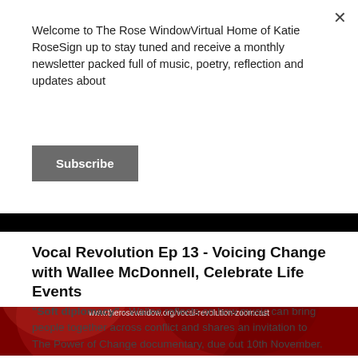Welcome to The Rose WindowVirtual Home of Katie RoseSign up to stay tuned and receive a monthly newsletter packed full of music, poetry, reflection and updates about
Subscribe
[Figure (illustration): Promotional banner for 'soft diplomacy' featuring bold white text 'Transforming our World through Voice' on a dark red/rose background with black top bar. Includes text: Watch/ Listen to the full interview with Katie Rose @ www.therosewindow.org/vocal-revolution-zoomcast]
Vocal Revolution Ep 13 - Voicing Change with Wallee McDonnell, Celebrate Life Events
"Soft diplomacy" - Wallee reflects on how music can bring people together across conflict and shares an invitation to The Power of Change documentary, due out 10th November.